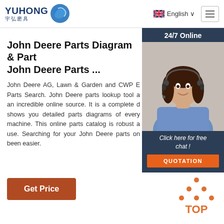[Figure (logo): Yuhong logo with Chinese characters and blue wave emblem]
English ∨
[Figure (screenshot): Hamburger menu icon]
[Figure (photo): 24/7 Online support agent photo with woman wearing headset]
Click here for free chat !
QUOTATION
John Deere Parts Diagram & Part John Deere Parts ...
John Deere AG, Lawn & Garden and CWP E Parts Search. John Deere parts lookup tool a an incredible online source. It is a complete d shows you detailed parts diagrams of every machine. This online parts catalog is robust a use. Searching for your John Deere parts on been easier.
Get Price
[Figure (illustration): TOP back-to-top button with orange dots forming triangle above the word TOP]